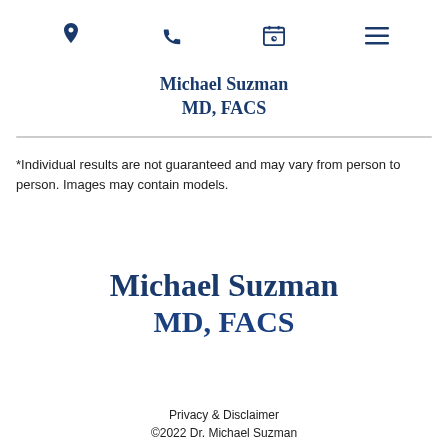[location icon] [phone icon] [calendar icon] [menu icon]
Michael Suzman MD, FACS
*Individual results are not guaranteed and may vary from person to person. Images may contain models.
Michael Suzman MD, FACS
Privacy & Disclaimer
©2022 Dr. Michael Suzman